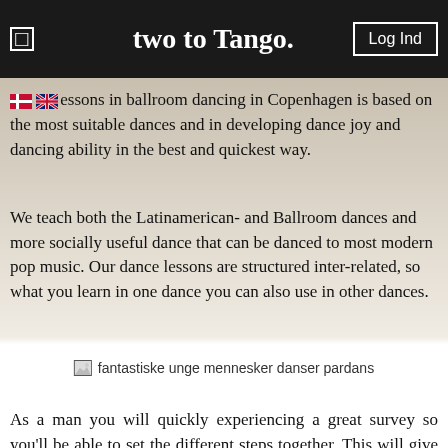two to Tango.
essons in ballroom dancing in Copenhagen is based on the most suitable dances and in developing dance joy and dancing ability in the best and quickest way.
We teach both the Latinamerican- and Ballroom dances and more socially useful dance that can be danced to most modern pop music. Our dance lessons are structured inter-related, so what you learn in one dance you can also use in other dances.
[Figure (photo): fantastiske unge mennesker danser pardans - image placeholder]
As a man you will quickly experiencing a great survey so you'll be able to set the different steps together. This will give you the ability to lead the lady more quickly.